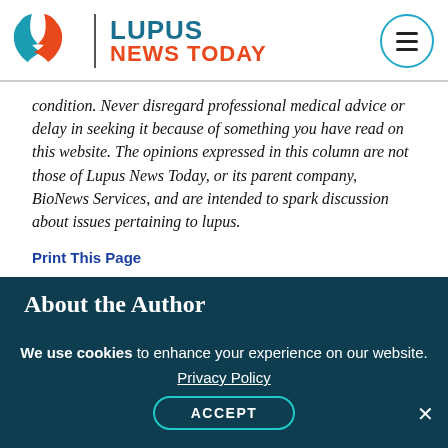[Figure (logo): Lupus News Today logo with leaf/butterfly icon in teal and red, site name in teal and red text, and hamburger menu icon in circle]
condition. Never disregard professional medical advice or delay in seeking it because of something you have read on this website. The opinions expressed in this column are not those of Lupus News Today, or its parent company, BioNews Services, and are intended to spark discussion about issues pertaining to lupus.
Print This Page
About the Author
We use cookies to enhance your experience on our website. Privacy Policy ACCEPT